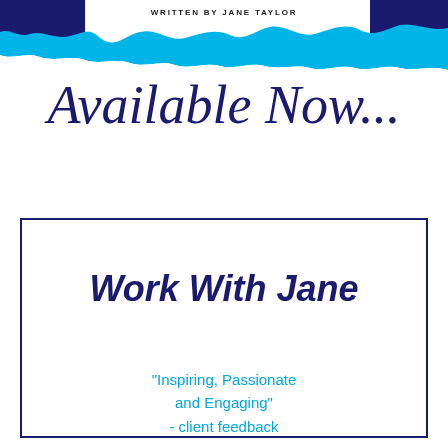[Figure (illustration): Torn paper decorative header with dark navy blue rectangles in top-left and top-right corners and a bright blue/cyan torn paper strip across the top.]
WRITTEN BY JANE TAYLOR
Available Now...
[Figure (other): Dark navy blue border rectangle box containing the text Work With Jane and a quote below.]
Work With Jane
"Inspiring, Passionate and Engaging" - client feedback